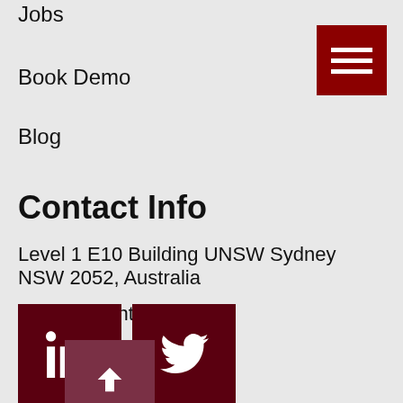Jobs
Book Demo
Blog
[Figure (other): Hamburger menu icon with three white horizontal bars on dark red background]
Contact Info
Level 1 E10 Building UNSW Sydney NSW 2052, Australia
info@evidentli.com
Privacy Policy
Terms of Use
[Figure (other): LinkedIn icon (white 'in' on dark red square), Twitter/X icon (white bird on dark red square), and back-to-top arrow icon (white upward arrow on muted red square)]